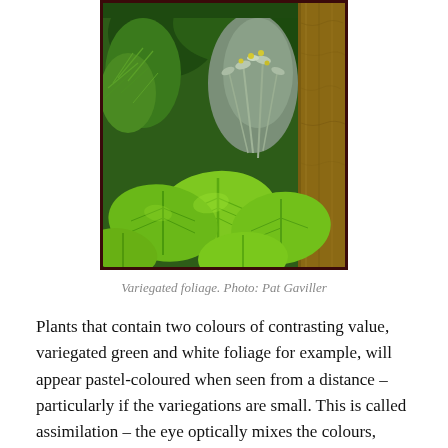[Figure (photo): A photograph of variegated foliage showing large bright green hosta leaves in the foreground, with delicate fern-like foliage and silver-leafed plants in the background, and a wooden post on the right side.]
Variegated foliage. Photo: Pat Gaviller
Plants that contain two colours of contrasting value, variegated green and white foliage for example, will appear pastel-coloured when seen from a distance – particularly if the variegations are small. This is called assimilation – the eye optically mixes the colours,